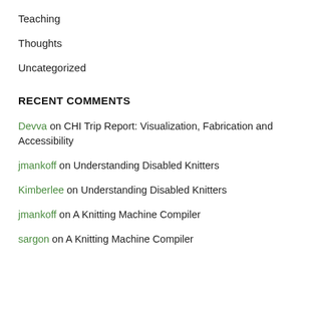Teaching
Thoughts
Uncategorized
RECENT COMMENTS
Devva on CHI Trip Report: Visualization, Fabrication and Accessibility
jmankoff on Understanding Disabled Knitters
Kimberlee on Understanding Disabled Knitters
jmankoff on A Knitting Machine Compiler
sargon on A Knitting Machine Compiler